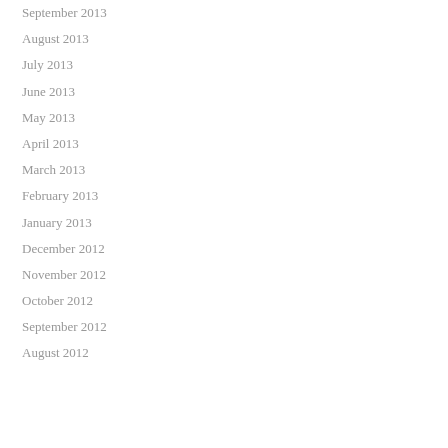September 2013
August 2013
July 2013
June 2013
May 2013
April 2013
March 2013
February 2013
January 2013
December 2012
November 2012
October 2012
September 2012
August 2012